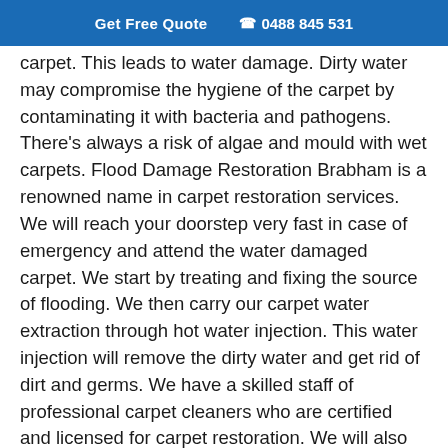Get Free Quote  📞 0488 845 531
carpet. This leads to water damage. Dirty water may compromise the hygiene of the carpet by contaminating it with bacteria and pathogens. There's always a risk of algae and mould with wet carpets. Flood Damage Restoration Brabham is a renowned name in carpet restoration services. We will reach your doorstep very fast in case of emergency and attend the water damaged carpet. We start by treating and fixing the source of flooding. We then carry our carpet water extraction through hot water injection. This water injection will remove the dirty water and get rid of dirt and germs. We have a skilled staff of professional carpet cleaners who are certified and licensed for carpet restoration. We will also deliver carpet sanitisation followed by fast carpet drying to prevent further damage.